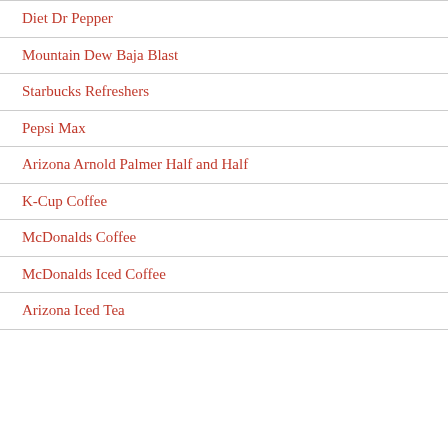Diet Dr Pepper
Mountain Dew Baja Blast
Starbucks Refreshers
Pepsi Max
Arizona Arnold Palmer Half and Half
K-Cup Coffee
McDonalds Coffee
McDonalds Iced Coffee
Arizona Iced Tea